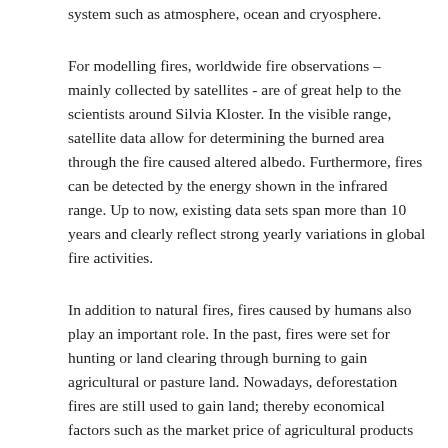system such as atmosphere, ocean and cryosphere.
For modelling fires, worldwide fire observations – mainly collected by satellites - are of great help to the scientists around Silvia Kloster. In the visible range, satellite data allow for determining the burned area through the fire caused altered albedo. Furthermore, fires can be detected by the energy shown in the infrared range. Up to now, existing data sets span more than 10 years and clearly reflect strong yearly variations in global fire activities.
In addition to natural fires, fires caused by humans also play an important role. In the past, fires were set for hunting or land clearing through burning to gain agricultural or pasture land. Nowadays, deforestation fires are still used to gain land; thereby economical factors such as the market price of agricultural products play a fundamental role. If fires are really an efficient tool to gain agricultural land, is in turn strongly controlled by